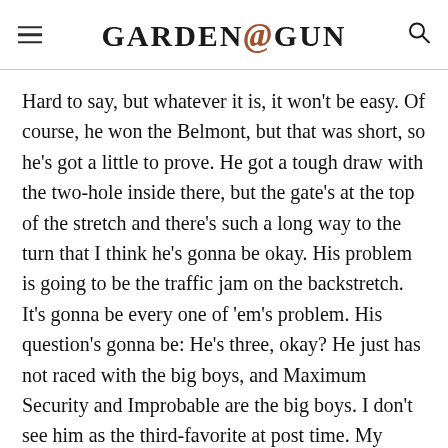GARDEN&GUN
Hard to say, but whatever it is, it won't be easy. Of course, he won the Belmont, but that was short, so he's got a little to prove. He got a tough draw with the two-hole inside there, but the gate's at the top of the stretch and there's such a long way to the turn that I think he's gonna be okay. His problem is going to be the traffic jam on the backstretch. It's gonna be every one of 'em's problem. His question's gonna be: He's three, okay? He just has not raced with the big boys, and Maximum Security and Improbable are the big boys. I don't see him as the third-favorite at post time. My thought is the money's gonna walk away from him a little. Still, he could hit the board if he doesn't freak out.